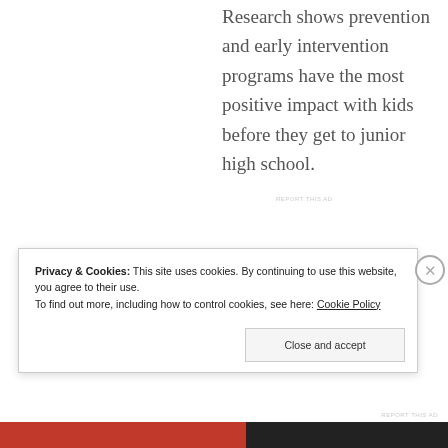Research shows prevention and early intervention programs have the most positive impact with kids before they get to junior high school.
REPORT THIS AD
Privacy & Cookies: This site uses cookies. By continuing to use this website, you agree to their use. To find out more, including how to control cookies, see here: Cookie Policy
Close and accept
REPORT THIS AD